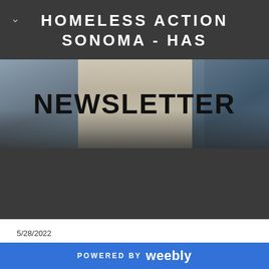HOMELESS ACTION SONOMA - HAS
[Figure (photo): Blurred photo banner showing people and a newspaper, with the word NEWSLETTER overlaid in large bold black text]
5/28/2022
MAY 2022 NEWSLETTER
POWERED BY weebly